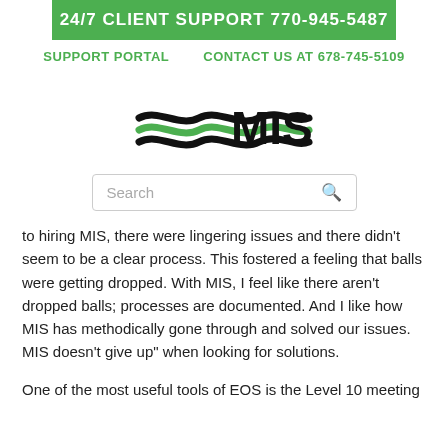24/7 CLIENT SUPPORT 770-945-5487
SUPPORT PORTAL   CONTACT US AT 678-745-5109
[Figure (logo): MIS logo with three wavy lines (black and green) and the text MIS in bold black]
Search
to hiring MIS, there were lingering issues and there didn't seem to be a clear process. This fostered a feeling that balls were getting dropped. With MIS, I feel like there aren't dropped balls; processes are documented. And I like how MIS has methodically gone through and solved our issues. MIS doesn't give up" when looking for solutions.
One of the most useful tools of EOS is the Level 10 meeting